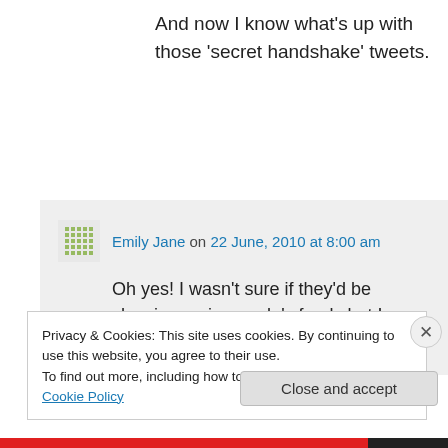And now I know what's up with those 'secret handshake' tweets.
↳ Reply
Emily Jane on 22 June, 2010 at 8:00 am
Oh yes! I wasn't sure if they'd be showing up in people's feeds but I guess it could've been confusing 🙂
Privacy & Cookies: This site uses cookies. By continuing to use this website, you agree to their use.
To find out more, including how to control cookies, see here: Cookie Policy
Close and accept